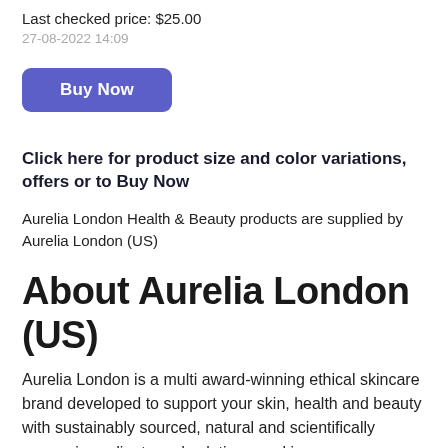Last checked price: $25.00
27-08-2022 14:09
Buy Now
Click here for product size and color variations, offers or to Buy Now
Aurelia London Health & Beauty products are supplied by Aurelia London (US)
About Aurelia London (US)
Aurelia London is a multi award-winning ethical skincare brand developed to support your skin, health and beauty with sustainably sourced, natural and scientifically proven ingredients and solutions working